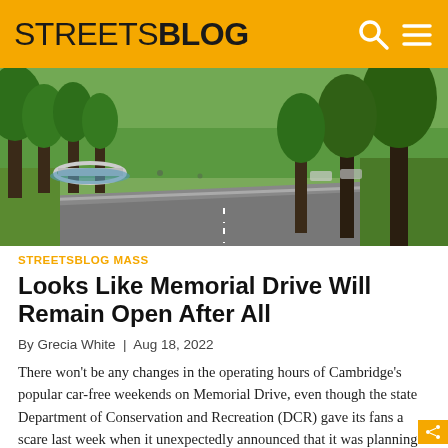STREETSBLOG
[Figure (photo): A tree-lined Memorial Drive in Cambridge, MA showing an empty road with large green trees on both sides, a bridge visible in the background left, and parkland.]
STREETSBLOG MASS
Looks Like Memorial Drive Will Remain Open After All
By Grecia White | Aug 18, 2022
There won't be any changes in the operating hours of Cambridge's popular car-free weekends on Memorial Drive, even though the state Department of Conservation and Recreation (DCR) gave its fans a scare last week when it unexpectedly announced that it was planning to let car traffic back in on Saturdays.  Such incredibly disappointing news. We'll […]